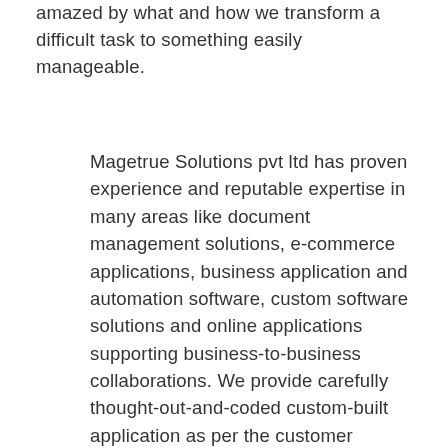amazed by what and how we transform a difficult task to something easily manageable.
Magetrue Solutions pvt ltd has proven experience and reputable expertise in many areas like document management solutions, e-commerce applications, business application and automation software, custom software solutions and online applications supporting business-to-business collaborations. We provide carefully thought-out-and-coded custom-built application as per the customer requirement. We design and implement